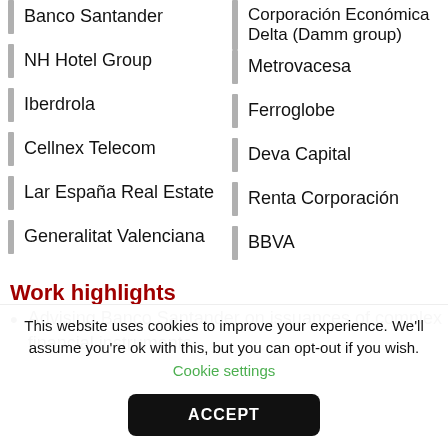Banco Santander
NH Hotel Group
Iberdrola
Cellnex Telecom
Lar España Real Estate
Generalitat Valenciana
Corporación Económica Delta (Damm group)
Metrovacesa
Ferroglobe
Deva Capital
Renta Corporación
BBVA
Work highlights
Advising Banco Santander on issuances of complex financial instruments.
This website uses cookies to improve your experience. We'll assume you're ok with this, but you can opt-out if you wish. Cookie settings
ACCEPT